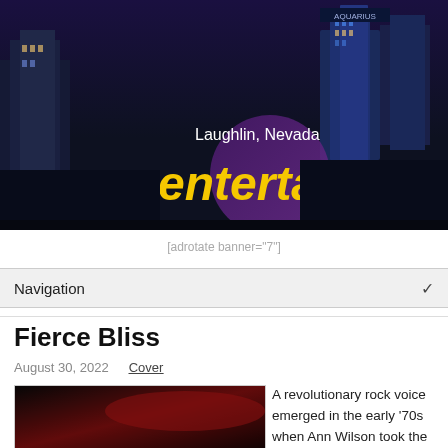[Figure (photo): Laughlin Nevada Entertainer website header banner showing city skyline with casino buildings at night and purple circle logo overlay. Text reads 'Laughlin, Nevada' and 'entertainer' in yellow.]
[adrotate banner="7"]
Navigation
Fierce Bliss
August 30, 2022   Cover
[Figure (photo): Article cover image showing dark red and black abstract/artistic image]
A revolutionary rock voice emerged in the early '70s when Ann Wilson took the lead in a band called Heart. Backed up by her sister, Nancy Wilson, the women forged a place for female singers in the hard rock genre.